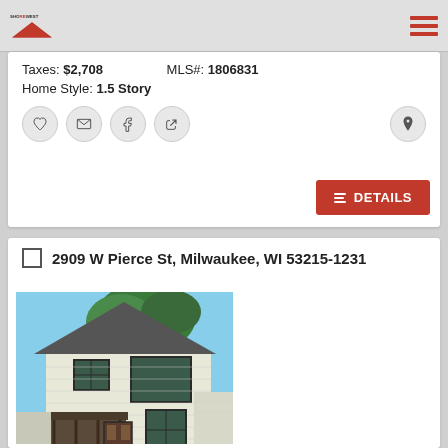Shorewest
Taxes: $2,708   MLS#: 1806831
Home Style: 1.5 Story
DETAILS
2909 W Pierce St, Milwaukee, WI 53215-1231
[Figure (photo): Exterior photo of a two-story house at 2909 W Pierce St, Milwaukee, WI with white siding, dark trim, covered front porch, and a tree in the background against a blue sky.]